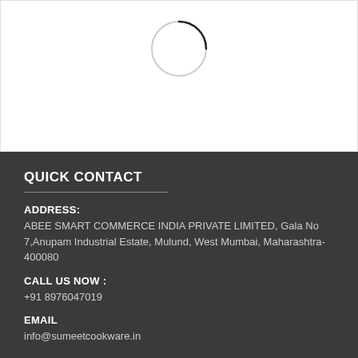[Figure (other): Loading spinner circle icon on white background]
QUICK CONTACT
ADDRESS:
ABEE SMART COMMERCE INDIA PRIVATE LIMITED, Gala No 7,Anupam Industrial Estate, Mulund, West Mumbai, Maharashtra-400080
CALL US NOW :
+91 8976047019
EMAIL
info@sumeetcookware.in